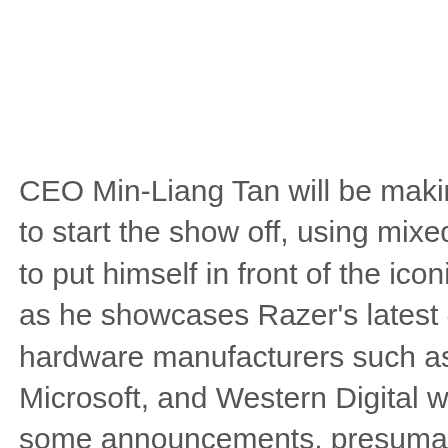CEO Min-Liang Tan will be making a keynote address to start the show off, using mixed-reality technologies to put himself in front of the iconic Singapore skyline as he showcases Razer's latest offerings. Other hardware manufacturers such as Intel, Nvidia, Microsoft, and Western Digital will also be making some announcements, presumably about upcoming offerings for the holiday season and the new year. Meanwhile, developers like Romero Games and Capcom will be showing off upcoming titles and potentially making announcments about new titles in the pipeline.
Viewers with Razer Chroma RGB-equipped